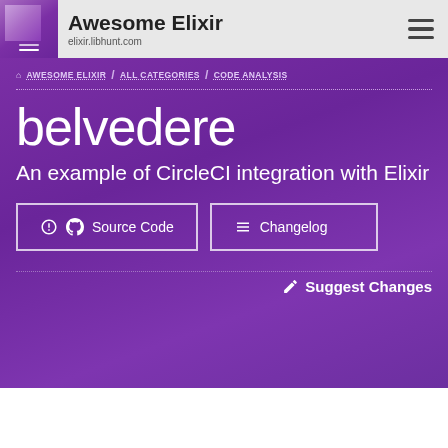Awesome Elixir — elixir.libhunt.com
AWESOME ELIXIR / ALL CATEGORIES / CODE ANALYSIS
belvedere
An example of CircleCI integration with Elixir
Source Code  Changelog
Suggest Changes